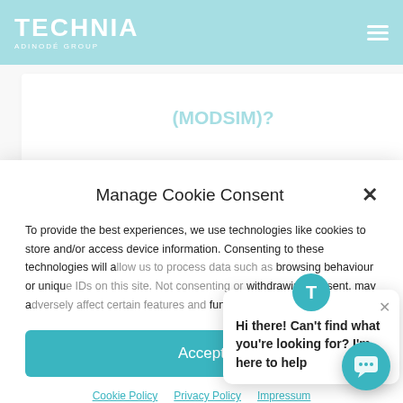TECHNIA ADINODÉ GROUP
(MODSIM)?
[Figure (screenshot): Two side-by-side 3D simulation images on a dark blue background showing mesh/wireframe models]
Manage Cookie Consent
To provide the best experiences, we use technologies like cookies to store and/or access device information. Consenting to these technologies will allow us to process data such as browsing behaviour or unique IDs on this site. Not consenting or withdrawing consent, may adversely affect certain features and functions.
Hi there! Can't find what you're looking for? I'm here to help
Accept
Cookie Policy  Privacy Policy  Impressum